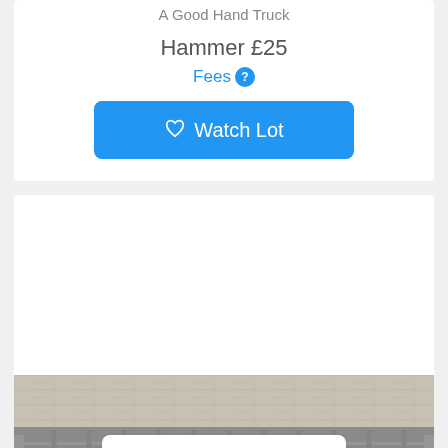A Good Hand Truck
Hammer £25
Fees ?
Watch Lot
[Figure (photo): A ladder lying flat on a cobblestone/brick surface, viewed from the side showing the rungs.]
Filter, Sort & Search